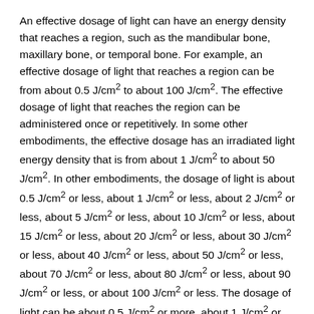An effective dosage of light can have an energy density that reaches a region, such as the mandibular bone, maxillary bone, or temporal bone. For example, an effective dosage of light that reaches a region can be from about 0.5 J/cm² to about 100 J/cm². The effective dosage of light that reaches the region can be administered once or repetitively. In some other embodiments, the effective dosage has an irradiated light energy density that is from about 1 J/cm² to about 50 J/cm². In other embodiments, the dosage of light is about 0.5 J/cm² or less, about 1 J/cm² or less, about 2 J/cm² or less, about 5 J/cm² or less, about 10 J/cm² or less, about 15 J/cm² or less, about 20 J/cm² or less, about 30 J/cm² or less, about 40 J/cm² or less, about 50 J/cm² or less, about 70 J/cm² or less, about 80 J/cm² or less, about 90 J/cm² or less, or about 100 J/cm² or less. The dosage of light can be about 0.5 J/cm² or more, about 1 J/cm² or more, about 2 J/cm² or more, about 3 J/cm² or more, about 5 J/cm² or more, about 10 J/cm² or more, about 15 J/cm² or more, about 20